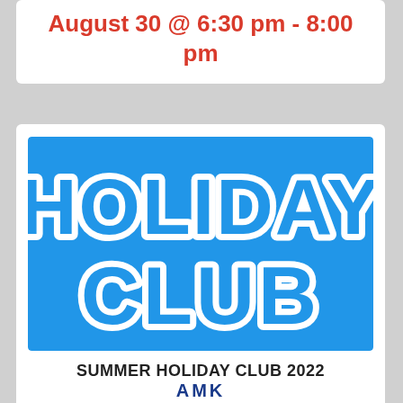August 30 @ 6:30 pm - 8:00 pm
[Figure (illustration): Holiday Club logo: blue background with large white bubble-letter text reading HOLIDAY CLUB]
SUMMER HOLIDAY CLUB 2022
August 31 @ 10:00 am - 12:30 pm